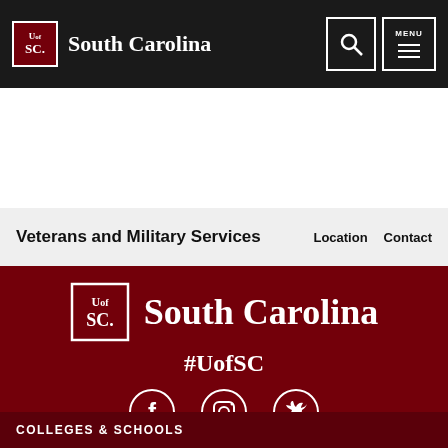South Carolina
Veterans and Military Services   Location   Contact
[Figure (logo): University of South Carolina logo with UofSC text and South Carolina wordmark on dark red footer background]
#UofSC
[Figure (illustration): Social media icons: Facebook, Instagram, Twitter in white circles]
COLLEGES & SCHOOLS